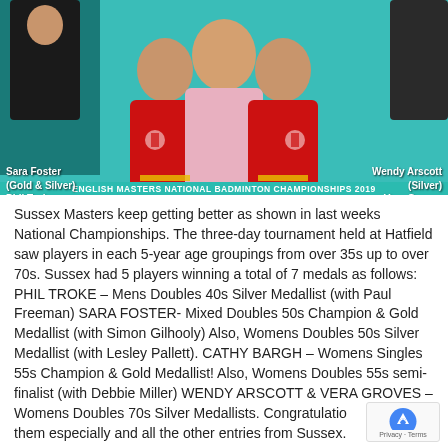[Figure (photo): Group photo of three women in red England badminton shirts with a woman in pink in the centre, taken at an indoor sports hall with teal walls. Text overlays identify players on left and right. Banner at bottom reads ENGLISH MASTERS NATIONAL BADMINTON CHAMPIONSHIPS 2019.]
Sara Foster (Gold & Silver) Phil Troke (Silver) Cathy Bargh (Gold) [left] | Wendy Arscott (Silver) Vera Groves (Silver) [right]
Sussex Masters keep getting better as shown in last weeks National Championships. The three-day tournament held at Hatfield saw players in each 5-year age groupings from over 35s up to over 70s. Sussex had 5 players winning a total of 7 medals as follows: PHIL TROKE – Mens Doubles 40s Silver Medallist (with Paul Freeman) SARA FOSTER- Mixed Doubles 50s Champion & Gold Medallist (with Simon Gilhooly) Also, Womens Doubles 50s Silver Medallist (with Lesley Pallett). CATHY BARGH – Womens Singles 55s Champion & Gold Medallist! Also, Womens Doubles 55s semi-finalist (with Debbie Miller) WENDY ARSCOTT & VERA GROVES – Womens Doubles 70s Silver Medallists. Congratulations to them especially and all the other entries from Sussex.